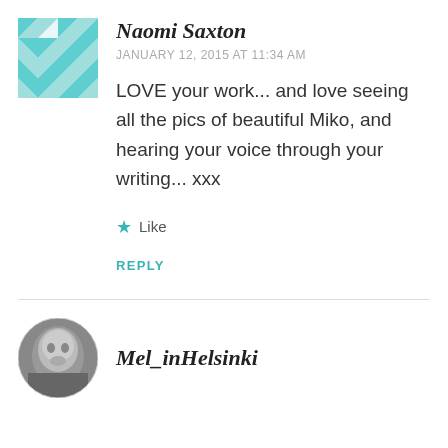[Figure (illustration): Geometric teal/mint patterned square avatar for Naomi Saxton]
Naomi Saxton
JANUARY 12, 2015 AT 11:34 AM
LOVE your work... and love seeing all the pics of beautiful Miko, and hearing your voice through your writing... xxx
★ Like
REPLY
[Figure (photo): Black and white circular profile photo of Mel_inHelsinki]
Mel_inHelsinki